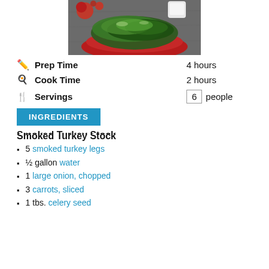[Figure (photo): Food photo showing a salad with dark greens on a red plate, with apples in background, on a dark surface]
Prep Time   4 hours
Cook Time   2 hours
Servings   6   people
INGREDIENTS
Smoked Turkey Stock
5 smoked turkey legs
½ gallon water
1 large onion, chopped
3 carrots, sliced
1 tbs. celery seed